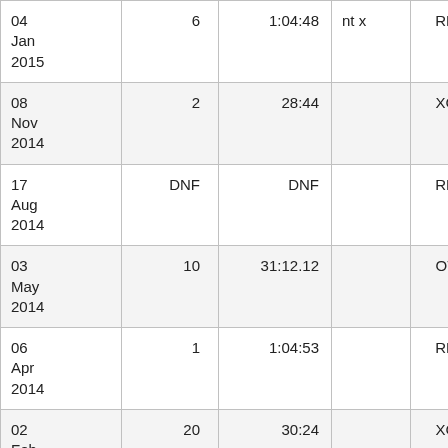| Date | Position | Time | Category | Type | Distance | ... |
| --- | --- | --- | --- | --- | --- | --- |
| 04 Jan 2015 | 6 | 1:04:48 | nt x | RD | Half Mara | A |
| 08 Nov 2014 | 2 | 28:44 |  | XC | 10 km | D |
| 17 Aug 2014 | DNF | DNF |  | RD | Marathon | Z |
| 03 May 2014 | 10 | 31:12.12 |  | OT | 10 km | N |
| 06 Apr 2014 | 1 | 1:04:53 |  | RD | Half Mara | D |
| 02 Feb ... | 20 | 30:24 |  | XC | 9.85 km | A / F |